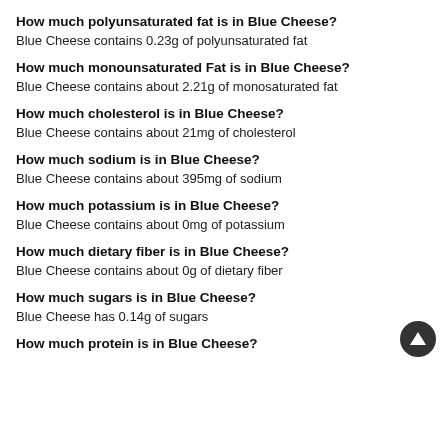How much polyunsaturated fat is in Blue Cheese?
Blue Cheese contains 0.23g of polyunsaturated fat
How much monounsaturated Fat is in Blue Cheese?
Blue Cheese contains about 2.21g of monosaturated fat
How much cholesterol is in Blue Cheese?
Blue Cheese contains about 21mg of cholesterol
How much sodium is in Blue Cheese?
Blue Cheese contains about 395mg of sodium
How much potassium is in Blue Cheese?
Blue Cheese contains about 0mg of potassium
How much dietary fiber is in Blue Cheese?
Blue Cheese contains about 0g of dietary fiber
How much sugars is in Blue Cheese?
Blue Cheese has 0.14g of sugars
How much protein is in Blue Cheese?